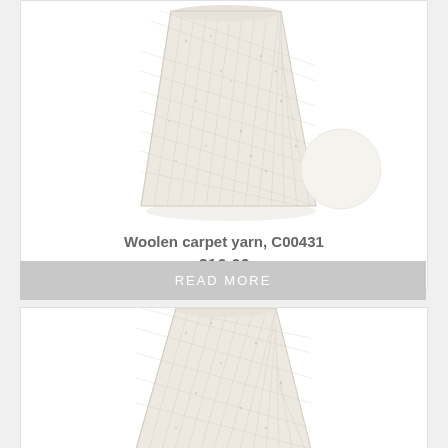[Figure (photo): A cone of cream/off-white woolen carpet yarn on white background, with a circular cream color swatch in the lower right of the image]
Woolen carpet yarn, C00431
€16.60
READ MORE
[Figure (photo): A cone of cream/off-white woolen carpet yarn, similar to the one above, partially visible at the bottom of the page]